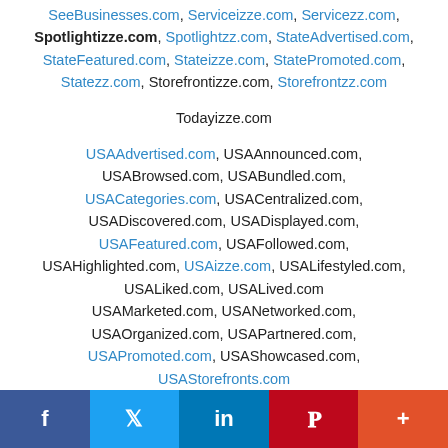SeeBusinesses.com, Serviceizze.com, Servicezz.com, Spotlightizze.com, Spotlightzz.com, StateAdvertised.com, StateFeatured.com, Stateizze.com, StatePromoted.com, Statezz.com, Storefrontizze.com, Storefrontzz.com
Todayizze.com
USAAdvertised.com, USAAnnounced.com, USABrowsed.com, USABundled.com, USACategories.com, USACentralized.com, USADiscovered.com, USADisplayed.com, USAFeatured.com, USAFollowed.com, USAHighlighted.com, USAizze.com, USALifestyled.com, USALiked.com, USALived.com, USAMarketed.com, USANetworked.com, USAOrganized.com, USAPartnered.com, USAPromoted.com, USAShowcased.com, USAStorefronts.com
Social share bar: Facebook, Twitter, LinkedIn, Pinterest, More